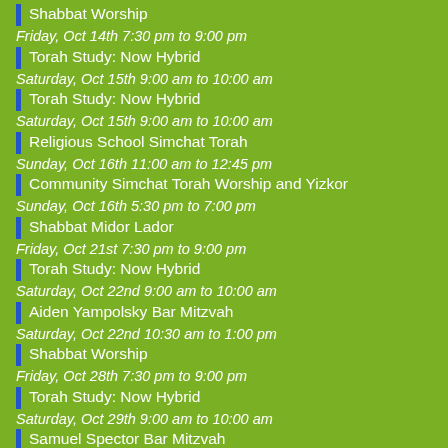Shabbat Worship
Friday, Oct 14th 7:30 pm to 9:00 pm
Torah Study: Now Hybrid
Saturday, Oct 15th 9:00 am to 10:00 am
Torah Study: Now Hybrid
Saturday, Oct 15th 9:00 am to 10:00 am
Religious School Simchat Torah
Sunday, Oct 16th 11:00 am to 12:45 pm
Community Simchat Torah Worship and Yizkor
Sunday, Oct 16th 5:30 pm to 7:00 pm
Shabbat Midor Lador
Friday, Oct 21st 7:30 pm to 9:00 pm
Torah Study: Now Hybrid
Saturday, Oct 22nd 9:00 am to 10:00 am
Aiden Yampolsky Bar Mitzvah
Saturday, Oct 22nd 10:30 am to 1:00 pm
Shabbat Worship
Friday, Oct 28th 7:30 pm to 9:00 pm
Torah Study: Now Hybrid
Saturday, Oct 29th 9:00 am to 10:00 am
Samuel Spector Bar Mitzvah
Saturday, Oct 29th 10:30 am to 1:00 pm
Shabbalala